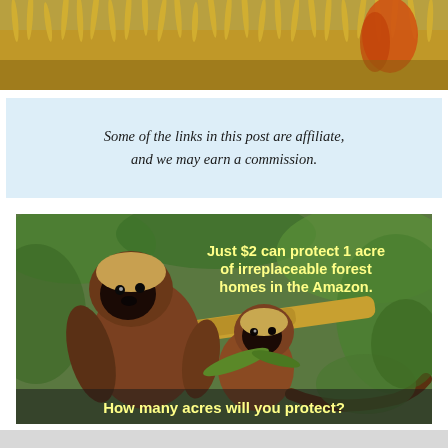[Figure (photo): Top portion of a photo showing golden wheat/grass field with an orange element visible]
Some of the links in this post are affiliate, and we may earn a commission.
[Figure (photo): Two brown capuchin monkeys on bamboo branches in the Amazon rainforest, with overlay text: 'Just $2 can protect 1 acre of irreplaceable forest homes in the Amazon. How many acres will you protect?']